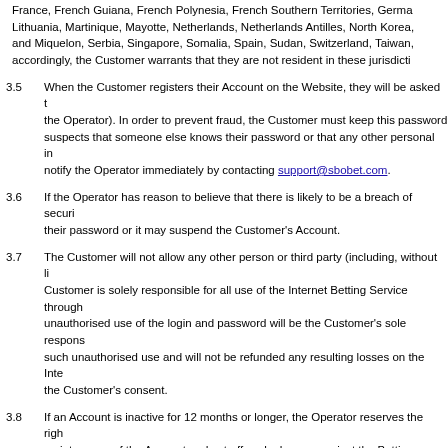France, French Guiana, French Polynesia, French Southern Territories, Germany, Lithuania, Martinique, Mayotte, Netherlands, Netherlands Antilles, North Korea, and Miquelon, Serbia, Singapore, Somalia, Spain, Sudan, Switzerland, Taiwan, accordingly, the Customer warrants that they are not resident in these jurisdictions
3.5 When the Customer registers their Account on the Website, they will be asked to (the Operator). In order to prevent fraud, the Customer must keep this password suspects that someone else knows their password or that any other personal in notify the Operator immediately by contacting support@sbobet.com.
3.6 If the Operator has reason to believe that there is likely to be a breach of security their password or it may suspend the Customer's Account.
3.7 The Customer will not allow any other person or third party (including, without limit, Customer is solely responsible for all use of the Internet Betting Service through unauthorised use of the login and password will be the Customer's sole responsibility such unauthorised use and will not be refunded any resulting losses on the Internet the Customer's consent.
3.8 If an Account is inactive for 12 months or longer, the Operator reserves the right maintenance of the Account and set-off such charges against the Betting Funds the Betting Funds will be deducted. If the Account remains inactive for a further administration charge will be deducted until the earlier of the following occurs: ( Customer using the Account to place a bet. Thereafter the deductions for the administration
3.9 The Operator may suspend or terminate the Customer's Account immediately under these terms and conditions. In this event and save for any contrary provision Account will be returned to the Customer.
3.10 The expiry or termination of a Customer's Account for any reason will not affect: (a) any rights, obligations and/or liabilities accrued before the date of termination (b) any rights, obligations and/or liabilities expressed to continue in force after
3.11 The Operator reserves the right not to open an account for any applicant without refuse/reject and suspend and/or terminate without prior notification the Account